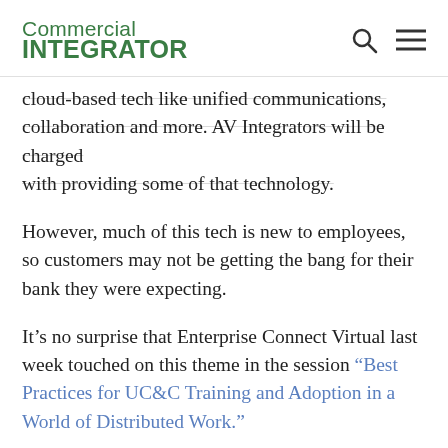Commercial INTEGRATOR
cloud-based tech like unified communications, collaboration and more. AV Integrators will be charged with providing some of that technology.
However, much of this tech is new to employees, so customers may not be getting the bang for their bank they were expecting.
It’s no surprise that Enterprise Connect Virtual last week touched on this theme in the session “Best Practices for UC&C Training and Adoption in a World of Distributed Work.”
Kevin Keiller, co-founder of EnableUC, and Blair Pleasant, president and principal analyst at COMMfusion LLC